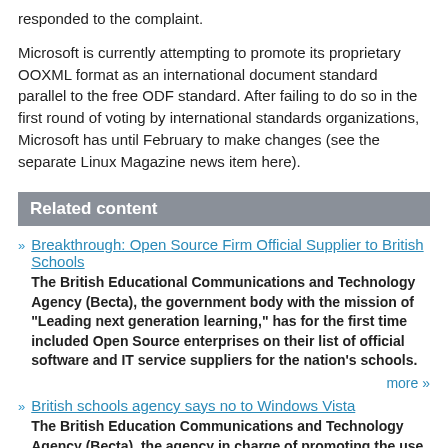responded to the complaint.
Microsoft is currently attempting to promote its proprietary OOXML format as an international document standard parallel to the free ODF standard. After failing to do so in the first round of voting by international standards organizations, Microsoft has until February to make changes (see the separate Linux Magazine news item here).
Related content
Breakthrough: Open Source Firm Official Supplier to British Schools
The British Educational Communications and Technology Agency (Becta), the government body with the mission of "Leading next generation learning," has for the first time included Open Source enterprises on their list of official software and IT service suppliers for the nation's schools.
more »
British schools agency says no to Windows Vista
The British Education Communications and Technology Agency (Becta), the agency in charge of promoting the use of technology in Britain's schools, has advised its partners in